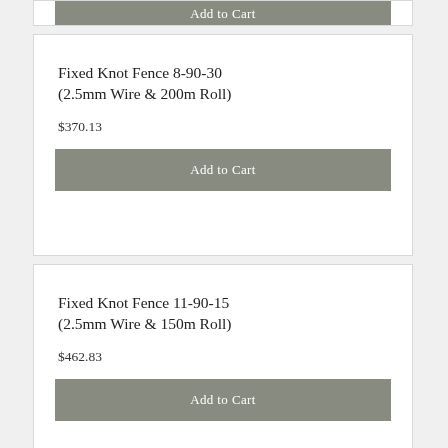Add to Cart
Fixed Knot Fence 8-90-30 (2.5mm Wire & 200m Roll)
$370.13
Add to Cart
Fixed Knot Fence 11-90-15 (2.5mm Wire & 150m Roll)
$462.83
Add to Cart
Fixed Knot Fence 15-150-15